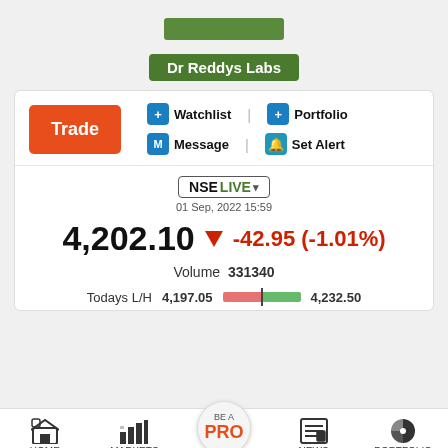Dr Reddys Labs
Trade
+ Watchlist | + Portfolio
M Message | Set Alert
NSELIVE
01 Sep, 2022 15:59
4,202.10 ▼ -42.95 (-1.01%)
Volume 331340
Todays L/H 4,197.05 4,232.50
HOME | MARKETS | BE A PRO | NEWS | PORTFOLIO